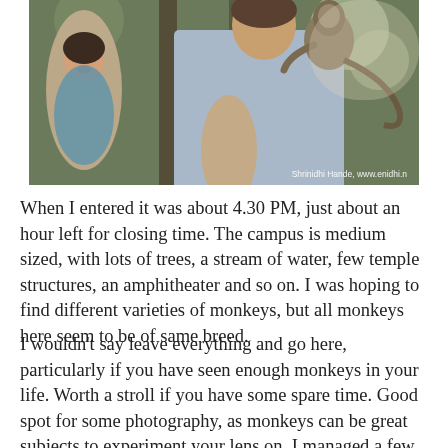[Figure (photo): Photo of a man in a light blue t-shirt with a monkey on his shoulder/back, a woman visible in the background on the left, trees in background. Watermark text: Shrinidhi Hande, www.enidhi.n]
When I entered it was about 4.30 PM, just about an hour left for closing time. The campus is medium sized, with lots of trees, a stream of water, few temple structures, an amphitheater and so on. I was hoping to find different varieties of monkeys, but all monkeys here seem to be of same breed.
I wouldn't say leave everything and go here, particularly if you have seen enough monkeys in your life. Worth a stroll if you have some spare time. Good spot for some photography, as monkeys can be great subjects to experiment your lens on. I managed a few photos as below, during my quick visit. I didn't regret